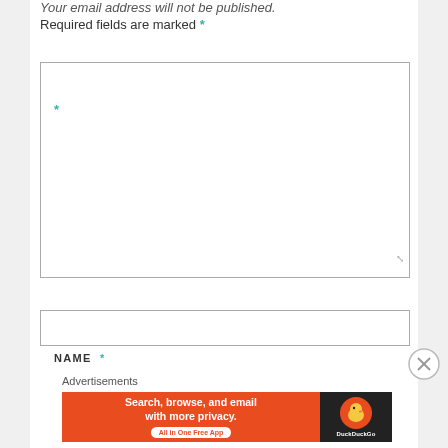Your email address will not be published. Required fields are marked *
COMMENT *
NAME *
Advertisements
[Figure (screenshot): DuckDuckGo advertisement banner: Search, browse, and email with more privacy. All in One Free App]